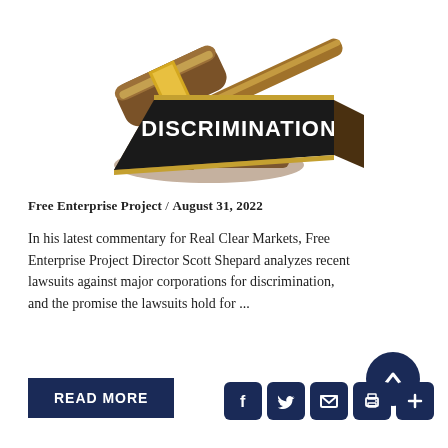[Figure (photo): A wooden judge's gavel resting on its sound block, alongside a dark triangular name plate that reads 'DISCRIMINATION' in white letters.]
Free Enterprise Project / August 31, 2022
In his latest commentary for Real Clear Markets, Free Enterprise Project Director Scott Shepard analyzes recent lawsuits against major corporations for discrimination, and the promise the lawsuits hold for ...
READ MORE